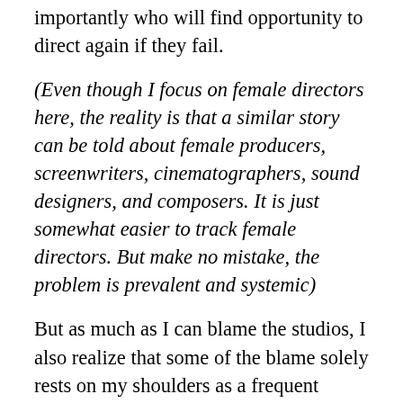importantly who will find opportunity to direct again if they fail.
(Even though I focus on female directors here, the reality is that a similar story can be told about female producers, screenwriters, cinematographers, sound designers, and composers. It is just somewhat easier to track female directors. But make no mistake, the problem is prevalent and systemic)
But as much as I can blame the studios, I also realize that some of the blame solely rests on my shoulders as a frequent viewer of film. When I first became aware of the problem two years ago I realized that I had